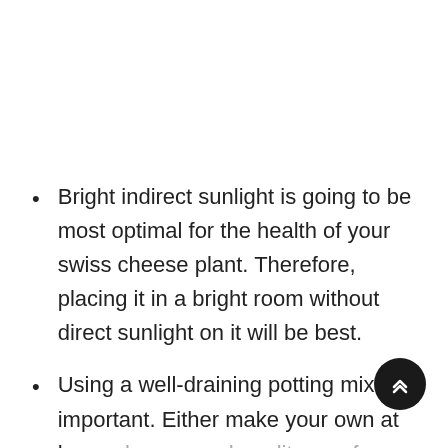Bright indirect sunlight is going to be most optimal for the health of your swiss cheese plant. Therefore, placing it in a bright room without direct sunlight on it will be best.
Using a well-draining potting mix is important. Either make your own at home or buy a good quality one from the store.